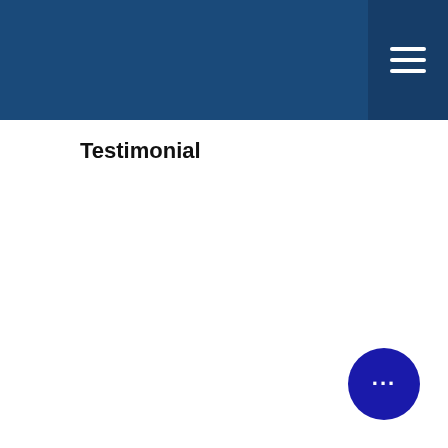Testimonial
[Figure (logo): GuildQuality Member badge with Q logo, company name Bealing Roofing & Exteriors Inc, five gold stars, and 275 Reviews text]
[Figure (other): Dark blue circular chat bubble button with three dots icon in bottom right corner]